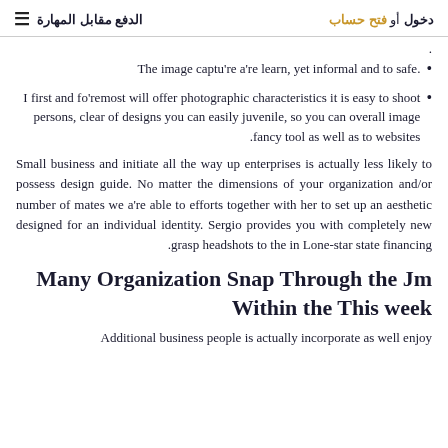الدفع مقابل المهارة  |  دخول أو فتح حساب
The image captu're a're learn, yet informal and to safe.
I first and fo'remost will offer photographic characteristics it is easy to shoot persons, clear of designs you can easily juvenile, so you can overall image fancy tool as well as to websites.
Small business and initiate all the way up enterprises is actually less likely to possess design guide. No matter the dimensions of your organization and/or number of mates we a're able to efforts together with her to set up an aesthetic designed for an individual identity. Sergio provides you with completely new grasp headshots to the in Lone-star state financing.
Many Organization Snap Through the Jm Within the This week
Additional business people is actually incorporate as well enjoy